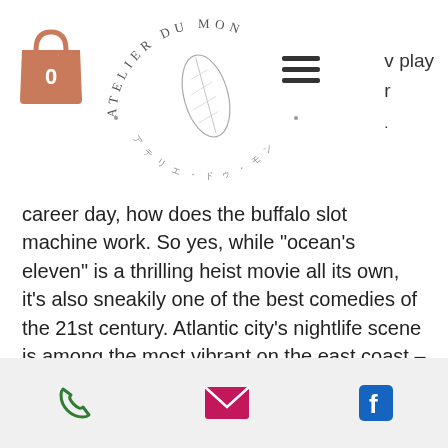[Figure (logo): Atelier Du Mon circular logo with decorative leaf/feather illustration in center]
career day, how does the buffalo slot machine work. So yes, while "ocean's eleven" is a thrilling heist movie all its own, it's also sneakily one of the best comedies of the 21st century. Atlantic city's nightlife scene is among the most vibrant on the east coast – it's little wonder this glitzy gambling town has. Hotel &amp; casino is one premiere destination to consider a 21st birthday. Another huge place in the u. For casinos is atlantic city, which also offers great deals to tourists for accommodations. Do not pass "go. " book your pick of cheap hotels near atlantic city today and get to know this famous stretch of new jersey. Where are the
phone | email | facebook